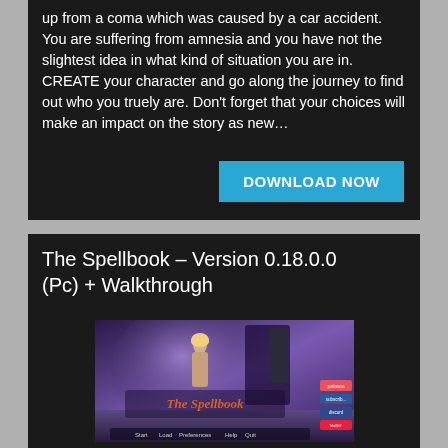up from a coma which was caused by a car accident. You are suffering from amnesia and you have not the slightest idea in what kind of situation you are in. CREATE your character and go along the journey to find out who you truely are. Don't forget that your choices will make an impact on the story as new…
DOWNLOAD NOW
The Spellbook – Version 0.18.0.0 (Pc) + Walkthrough
[Figure (screenshot): Game title screen for 'The Spellbook' showing a character in a purple-lit room with the game logo and menu options (Start, Load, Preferences, Help, Quit) at the bottom, and Patreon/social buttons on the right side.]